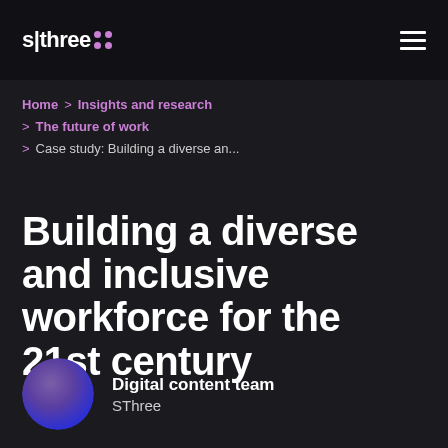s|three
Home > Insights and research > The future of work > Case study: Building a diverse an...
Building a diverse and inclusive workforce for the 21st century
Digital content team SThree